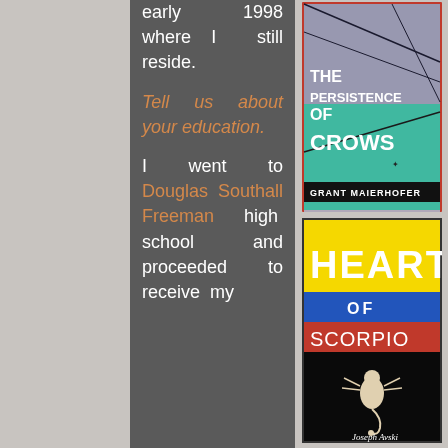early 1998 where I still reside.
Tell us about your education.
I went to Douglas Southall Freeman high school and proceeded to receive my
[Figure (illustration): Book cover for 'The Persistence of Crows' by Grant Maierhofer. Features geometric interior space with teal/green lower half and gray upper half. Title text in white reads: THE PERSISTENCE OF CROWS. Author name 'GRANT MAIERHOFER' in black banner at bottom.]
[Figure (illustration): Book cover for 'Heart of Scorpio' by Joseph Avski. Yellow top section with 'HEART' in large white text, blue middle band with 'OF' in white, red lower band with 'SCORPIO' in white chalk-like text, black bottom section with a scorpion illustration and author name 'Joseph Avski' in white.]